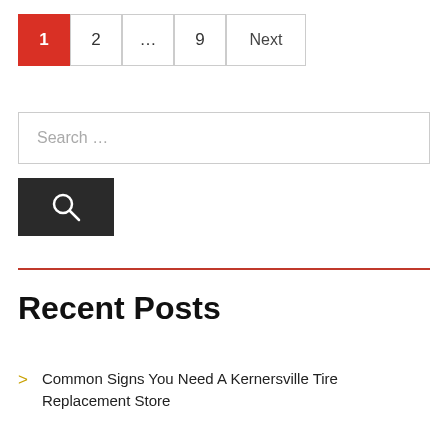1 2 … 9 Next
Search ...
[Figure (other): Dark search button with magnifying glass icon]
Recent Posts
Common Signs You Need A Kernersville Tire Replacement Store